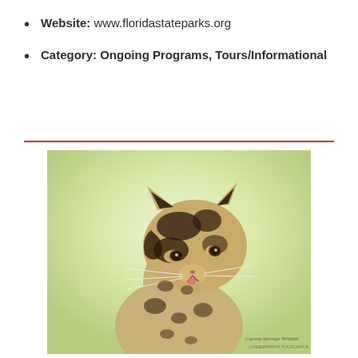Website: www.floridastateparks.org
Category: Ongoing Programs, Tours/Informational
[Figure (photo): Close-up portrait photograph of a clouded leopard with distinctive dark cloud-pattern markings on tan/beige fur, looking slightly to the left against a soft green gradient background. A watermark in the lower right reads 'Carros Springs Wildlife' and additional foundation text.]